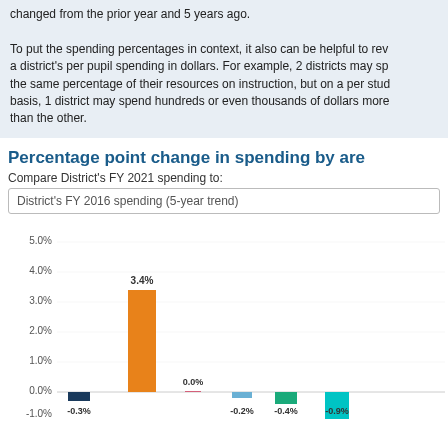changed from the prior year and 5 years ago.

To put the spending percentages in context, it also can be helpful to review a district's per pupil spending in dollars. For example, 2 districts may spend the same percentage of their resources on instruction, but on a per student basis, 1 district may spend hundreds or even thousands of dollars more than the other.
Percentage point change in spending by are
Compare District's FY 2021 spending to:
District's FY 2016 spending (5-year trend)
[Figure (bar-chart): Percentage point change in spending by area]